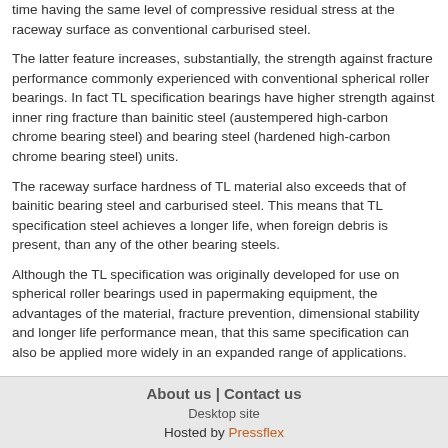time having the same level of compressive residual stress at the raceway surface as conventional carburised steel.
The latter feature increases, substantially, the strength against fracture performance commonly experienced with conventional spherical roller bearings. In fact TL specification bearings have higher strength against inner ring fracture than bainitic steel (austempered high-carbon chrome bearing steel) and bearing steel (hardened high-carbon chrome bearing steel) units.
The raceway surface hardness of TL material also exceeds that of bainitic bearing steel and carburised steel. This means that TL specification steel achieves a longer life, when foreign debris is present, than any of the other bearing steels.
Although the TL specification was originally developed for use on spherical roller bearings used in papermaking equipment, the advantages of the material, fracture prevention, dimensional stability and longer life performance mean, that this same specification can also be applied more widely in an expanded range of applications.
For further information please visit: http://http//www.nskeurope.com
About us | Contact us
Desktop site
Hosted by Pressflex